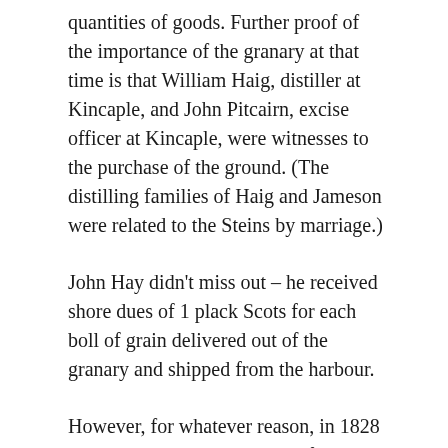quantities of goods. Further proof of the importance of the granary at that time is that William Haig, distiller at Kincaple, and John Pitcairn, excise officer at Kincaple, were witnesses to the purchase of the ground. (The distilling families of Haig and Jameson were related to the Steins by marriage.)
John Hay didn't miss out – he received shore dues of 1 plack Scots for each boll of grain delivered out of the granary and shipped from the harbour.
However, for whatever reason, in 1828 John Stein's heir, John Stein of Ashford, Kent, sold the granary to James Wilson – a Cupar corn